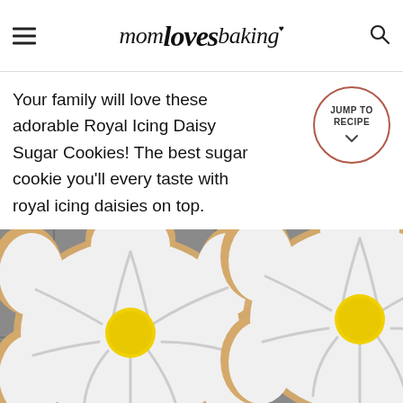mom loves baking
Your family will love these adorable Royal Icing Daisy Sugar Cookies! The best sugar cookie you'll every taste with royal icing daisies on top.
[Figure (other): Jump To Recipe button — circular button with coral/red border and text 'JUMP TO RECIPE' with a downward chevron arrow]
[Figure (photo): Close-up photo of daisy-shaped sugar cookies decorated with white royal icing and a yellow circular center, arranged on a wire cooling rack]